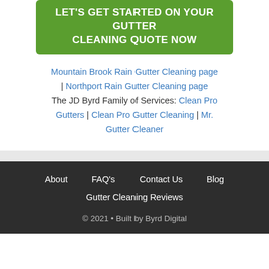LET'S GET STARTED ON YOUR GUTTER CLEANING QUOTE NOW
Mountain Brook Rain Gutter Cleaning page | Northport Rain Gutter Cleaning page The JD Byrd Family of Services: Clean Pro Gutters | Clean Pro Gutter Cleaning | Mr. Gutter Cleaner
About  FAQ's  Contact Us  Blog  Gutter Cleaning Reviews  © 2021 • Built by Byrd Digital